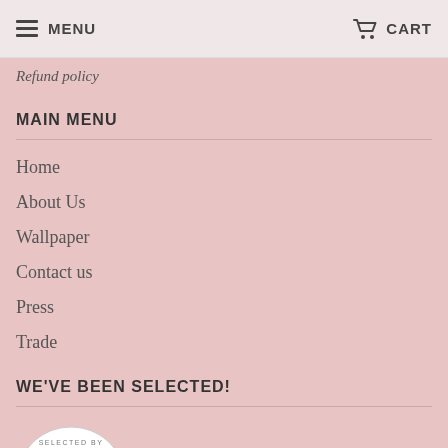MENU  CART
Refund policy
MAIN MENU
Home
About Us
Wallpaper
Contact us
Press
Trade
WE'VE BEEN SELECTED!
[Figure (logo): Selected By Kids Interiors circular badge/logo]